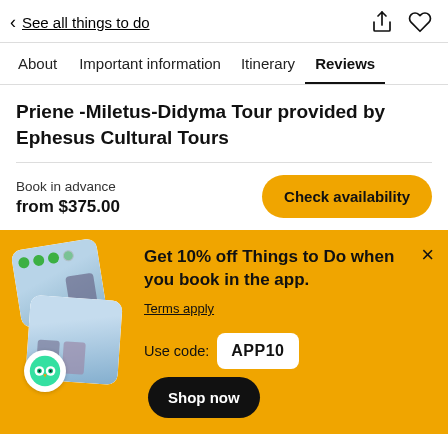< See all things to do
About   Important information   Itinerary   Reviews
Priene -Miletus-Didyma Tour provided by Ephesus Cultural Tours
Book in advance
from $375.00
Check availability
Get 10% off Things to Do when you book in the app. Terms apply
Use code: APP10
Shop now